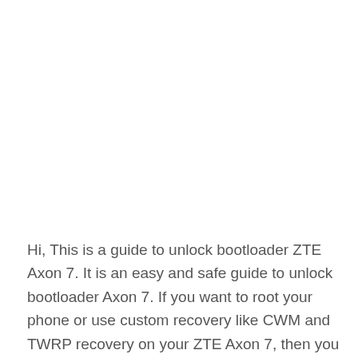Hi, This is a guide to unlock bootloader ZTE Axon 7. It is an easy and safe guide to unlock bootloader Axon 7. If you want to root your phone or use custom recovery like CWM and TWRP recovery on your ZTE Axon 7, then you must be unlock your